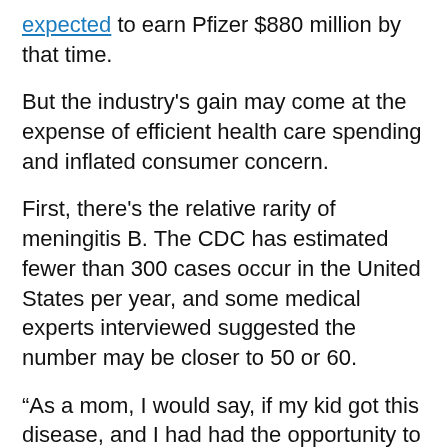expected to earn Pfizer $880 million by that time.
But the industry's gain may come at the expense of efficient health care spending and inflated consumer concern.
First, there's the relative rarity of meningitis B. The CDC has estimated fewer than 300 cases occur in the United States per year, and some medical experts interviewed suggested the number may be closer to 50 or 60.
“As a mom, I would say, if my kid got this disease, and I had had the opportunity to prevent it, and I didn’t, I would kill myself,” said Martha Arden, a practicing physician and the medical director of Mount Sinai Adolescent